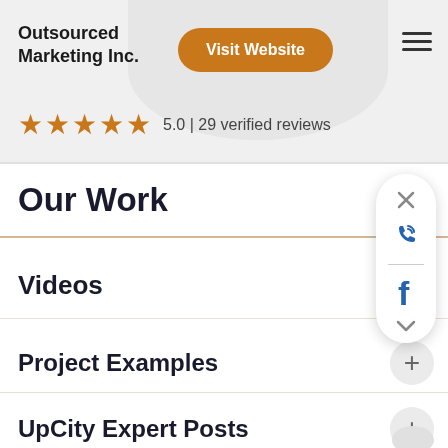Outsourced Marketing Inc.
Visit Website
5.0 | 29 verified reviews
Our Work
Videos
Project Examples
UpCity Expert Posts